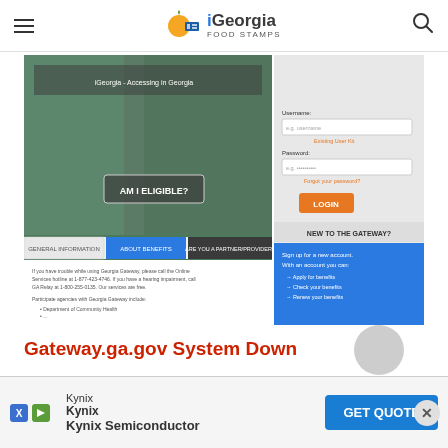iGeorgia Food Stamps — navigation header with hamburger menu and search icon
[Figure (screenshot): Screenshot of the Georgia Gateway (gateway.ga.gov) website showing the portal homepage with 'AM I ELIGIBLE?' button on the left, and a login panel with username/password fields and orange LOGIN button on the right, plus 'NEW TO THE GATEWAY?' section in blue]
Gateway.ga.gov System Down
[Figure (other): Advertisement banner: Kynix / Kynix Semiconductor with blue GET QUOTE button]